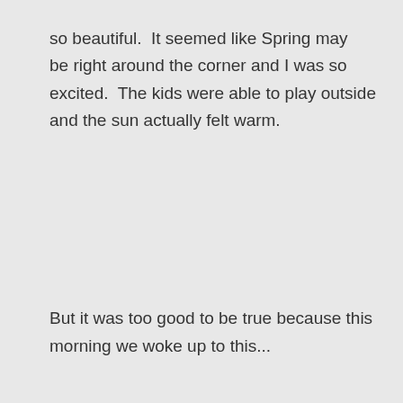so beautiful.  It seemed like Spring may  be right around the corner and I was so excited.  The kids were able to play outside and the sun actually felt warm.
But it was too good to be true because this morning we woke up to this...